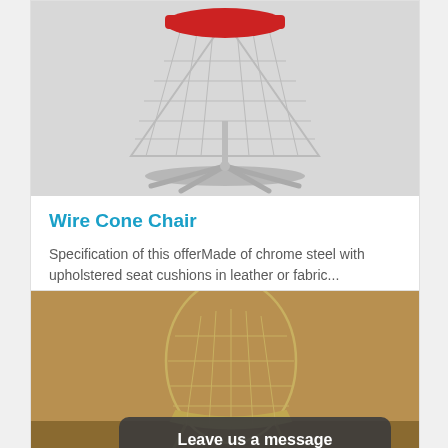[Figure (photo): Wire Cone Chair product photo — chrome wire cone-shaped chair with red seat cushion on a star-shaped chrome base, white background]
Wire Cone Chair
Specification of this offerMade of chrome steel with upholstered seat cushions in leather or fabric...
$793.00
[Figure (photo): Wire chair product photo — transparent wire-frame lounge chair against a textured golden/brown wall background]
Leave us a message